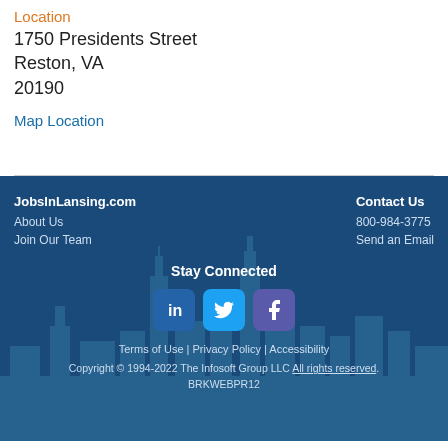Location
1750 Presidents Street
Reston, VA
20190
Map Location
JobsInLansing.com | About Us | Join Our Team | Contact Us | 800-984-3775 | Send an Email | Stay Connected | Terms of Use | Privacy Policy | Accessibility | Copyright © 1994-2022 The Infosoft Group LLC All rights reserved. BRKWEBPR12